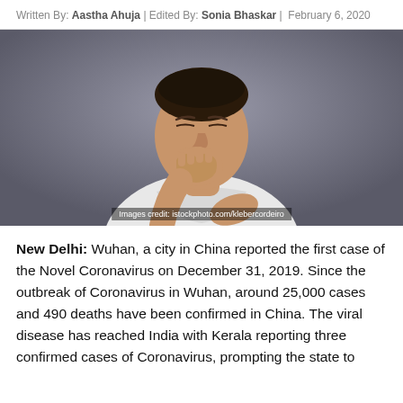Written By: Aastha Ahuja | Edited By: Sonia Bhaskar | February 6, 2020
[Figure (photo): A young man in a white t-shirt coughing into his fist against a dark grey background. Image credit: istockphoto.com/klebercordeiro]
New Delhi: Wuhan, a city in China reported the first case of the Novel Coronavirus on December 31, 2019. Since the outbreak of Coronavirus in Wuhan, around 25,000 cases and 490 deaths have been confirmed in China. The viral disease has reached India with Kerala reporting three confirmed cases of Coronavirus, prompting the state to